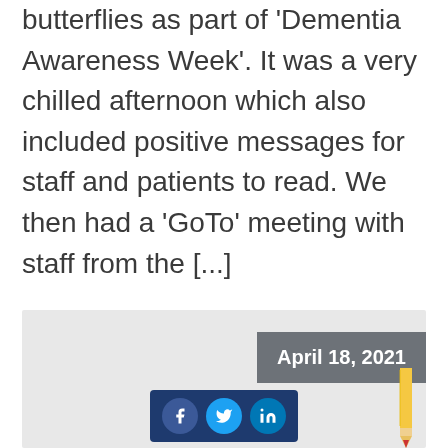butterflies as part of 'Dementia Awareness Week'. It was a very chilled afternoon which also included positive messages for staff and patients to read. We then had a 'GoTo' meeting with staff from the [...]
Read More
[Figure (screenshot): Article card with date badge 'April 18, 2021', social sharing icons (Facebook, Twitter, LinkedIn) on dark navy background, and a pencil illustration on the right side, all on a light grey background.]